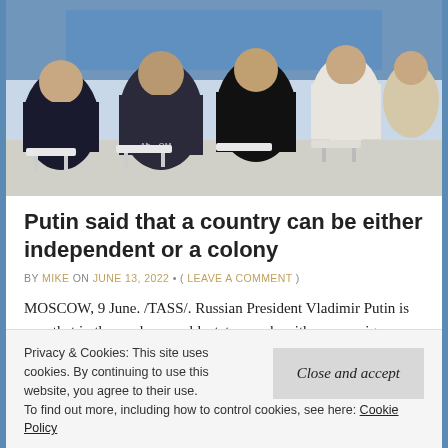[Figure (photo): Conference or forum scene viewed from behind, showing attendees seated in white chairs watching a presentation. Blue backdrop visible at front. People in business attire, one wearing a hoodie with partial logo text.]
Putin said that a country can be either independent or a colony
BY MIKE ON JUNE 13, 2022 • ( LEAVE A COMMENT )
MOSCOW, 9 June. /TASS/. Russian President Vladimir Putin is sure that in the modern world, states can be either sovereign or colonies, there is
Privacy & Cookies: This site uses cookies. By continuing to use this website, you agree to their use.
To find out more, including how to control cookies, see here: Cookie Policy
Close and accept